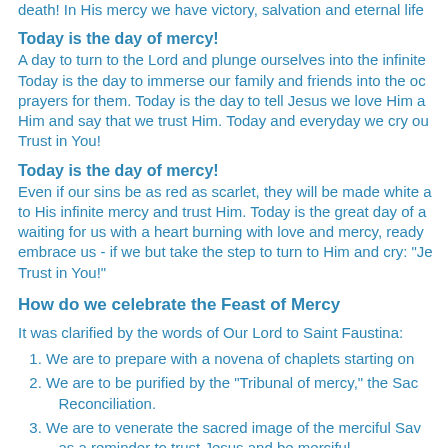death! In His mercy we have victory, salvation and eternal life
Today is the day of mercy!
A day to turn to the Lord and plunge ourselves into the infinite Today is the day to immerse our family and friends into the oc prayers for them. Today is the day to tell Jesus we love Him a Him and say that we trust Him. Today and everyday we cry ou Trust in You!
Today is the day of mercy!
Even if our sins be as red as scarlet, they will be made white a to His infinite mercy and trust Him. Today is the great day of a waiting for us with a heart burning with love and mercy, ready embrace us - if we but take the step to turn to Him and cry: "Je Trust in You!"
How do we celebrate the Feast of Mercy
It was clarified by the words of Our Lord to Saint Faustina:
We are to prepare with a novena of chaplets starting on
We are to be purified by the "Tribunal of mercy," the Sac Reconciliation.
We are to venerate the sacred image of the merciful Sav as a reminder to trust Jesus and be merciful.
We are to...